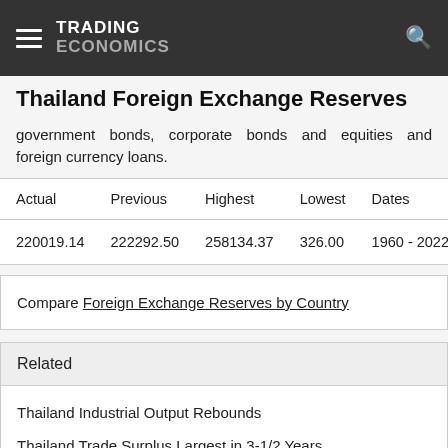TRADING ECONOMICS
Thailand Foreign Exchange Reserves
government bonds, corporate bonds and equities and foreign currency loans.
| Actual | Previous | Highest | Lowest | Dates |
| --- | --- | --- | --- | --- |
| 220019.14 | 222292.50 | 258134.37 | 326.00 | 1960 - 2022 |
Compare Foreign Exchange Reserves by Country
Related
Thailand Industrial Output Rebounds
Thailand Trade Surplus Largest in 3-1/2 Years